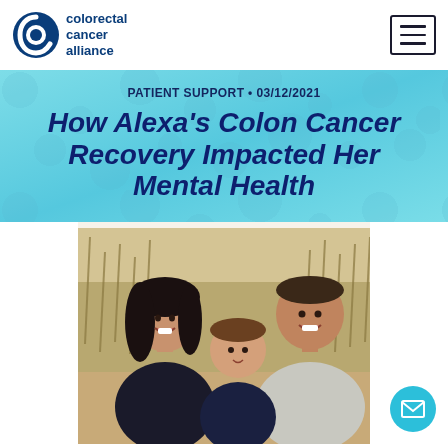colorectal cancer alliance
PATIENT SUPPORT • 03/12/2021
How Alexa's Colon Cancer Recovery Impacted Her Mental Health
[Figure (photo): A smiling family of three — a woman with long dark hair, a man, and a young toddler — posed outdoors near tall grass on a beach setting.]